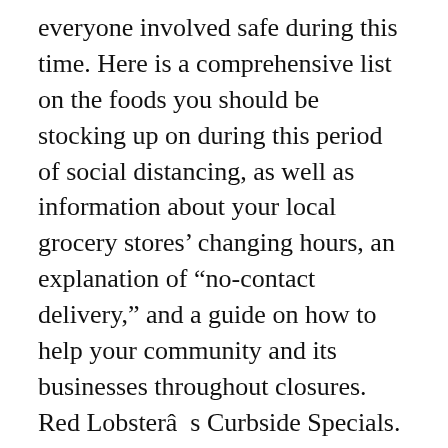everyone involved safe during this time. Here is a comprehensive list on the foods you should be stocking up on during this period of social distancing, as well as information about your local grocery stores' changing hours, an explanation of “no-contact delivery,” and a guide on how to help your community and its businesses throughout closures. Red Lobsterâs Curbside Specials. The news around the COVID-19 outbreak is constantly changing, but information about food safety and how to keep yourself healthy is crucial right now. Served with mashed potatoes and your choice of side (620 cal). I ordered curbside do I wouldn't have to do that. Red Lobster is a seafood restaurant chain in the